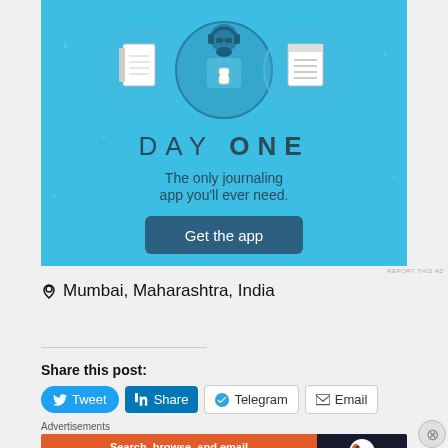[Figure (illustration): Day One journaling app advertisement with blue background showing a person holding a phone with notebook icons, text 'DAY ONE - The only journaling app you'll ever need.' and a 'Get the app' button]
REPORT THIS AD
📍 Mumbai, Maharashtra, India
Share this post:
Tweet  Share  Telegram  Email
Advertisements
[Figure (illustration): DuckDuckGo advertisement banner: orange left side with text 'Search, browse, and email with more privacy. All in One Free App', dark right side with DuckDuckGo duck logo]
REPORT THIS AD